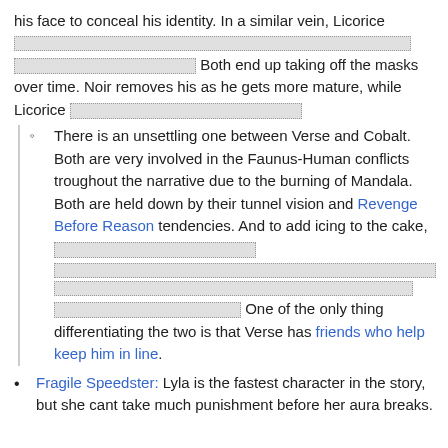his face to conceal his identity. In a similar vein, Licorice [redacted] [redacted] Both end up taking off the masks over time. Noir removes his as he gets more mature, while Licorice [redacted]
There is an unsettling one between Verse and Cobalt. Both are very involved in the Faunus-Human conflicts troughout the narrative due to the burning of Mandala. Both are held down by their tunnel vision and Revenge Before Reason tendencies. And to add icing to the cake, [redacted] [redacted] [redacted] One of the only thing differentiating the two is that Verse has friends who help keep him in line.
Fragile Speedster: Lyla is the fastest character in the story, but she cant take much punishment before her aura breaks.